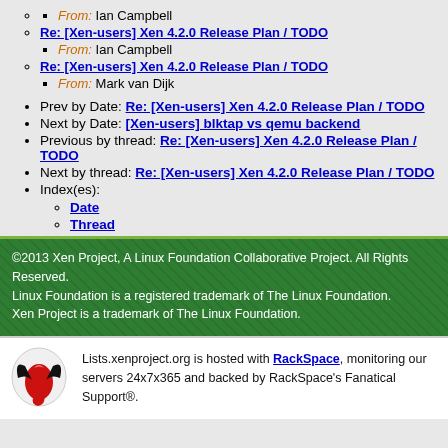From: Ian Campbell
Re: [Xen-users] Xen 4.2.0 Release Plan / TODO
From: Ian Campbell
Re: [Xen-users] Xen 4.2.0 Release Plan / TODO
From: Mark van Dijk
Prev by Date: Re: [Xen-users] Xen 4.2.0 Release Plan / TODO
Next by Date: [Xen-users] blktap vs qemu backend
Previous by thread: Re: [Xen-users] Xen 4.2.0 Release Plan / TODO
Next by thread: Re: [Xen-users] Xen 4.2.0 Release Plan / TODO
Index(es):
Date
Thread
©2013 Xen Project, A Linux Foundation Collaborative Project. All Rights Reserved. Linux Foundation is a registered trademark of The Linux Foundation. Xen Project is a trademark of The Linux Foundation.
Lists.xenproject.org is hosted with RackSpace, monitoring our servers 24x7x365 and backed by RackSpace's Fanatical Support®.